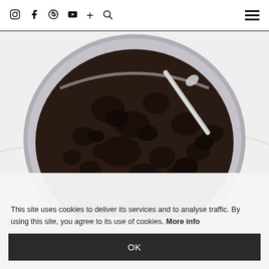Instagram Facebook Pinterest YouTube + Search [hamburger menu]
[Figure (photo): Top-down view of a round metal bowl filled with dark chocolate cookie crumbs and a silver spoon, on a white marble surface.]
This site uses cookies to deliver its services and to analyse traffic. By using this site, you agree to its use of cookies. More info
OK